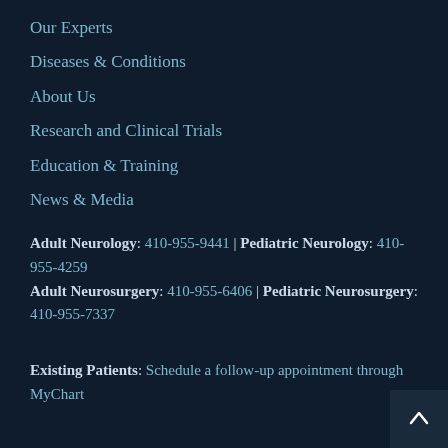Our Experts
Diseases & Conditions
About Us
Research and Clinical Trials
Education & Training
News & Media
Adult Neurology: 410-955-9441 | Pediatric Neurology: 410-955-4259 Adult Neurosurgery: 410-955-6406 | Pediatric Neurosurgery: 410-955-7337
Existing Patients: Schedule a follow-up appointment through MyChart